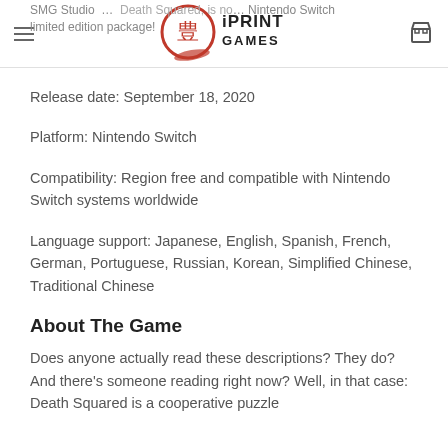SMG Studio … iPrint Games … Death Squared, is no… Nintendo Switch limited edition package!
Release date: September 18, 2020
Platform: Nintendo Switch
Compatibility: Region free and compatible with Nintendo Switch systems worldwide
Language support: Japanese, English, Spanish, French, German, Portuguese, Russian, Korean, Simplified Chinese, Traditional Chinese
About The Game
Does anyone actually read these descriptions? They do? And there's someone reading right now? Well, in that case: Death Squared is a cooperative puzzle